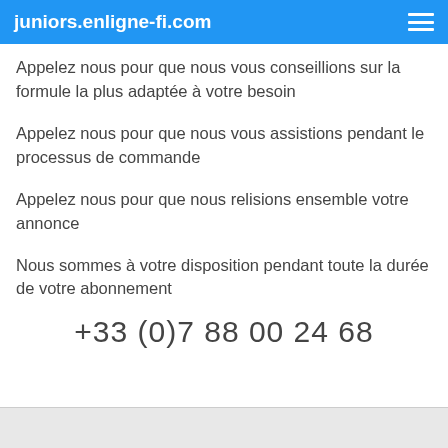juniors.enligne-fi.com
Appelez nous pour que nous vous conseillions sur la formule la plus adaptée à votre besoin
Appelez nous pour que nous vous assistions pendant le processus de commande
Appelez nous pour que nous relisions ensemble votre annonce
Nous sommes à votre disposition pendant toute la durée de votre abonnement
+33 (0)7 88 00 24 68